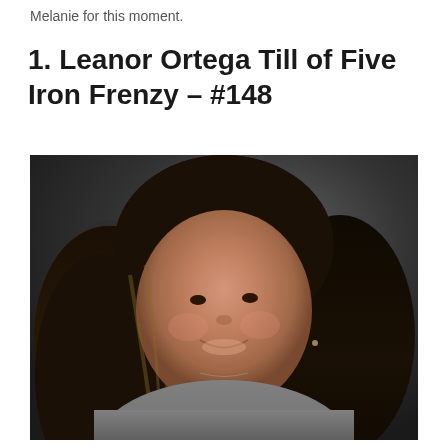Melanie for this moment.
1. Leanor Ortega Till of Five Iron Frenzy – #148
[Figure (photo): Portrait photograph of Leanor Ortega Till, a woman with long dark brown hair with highlights, smiling, wearing a grey top, photographed against a dark grey background.]